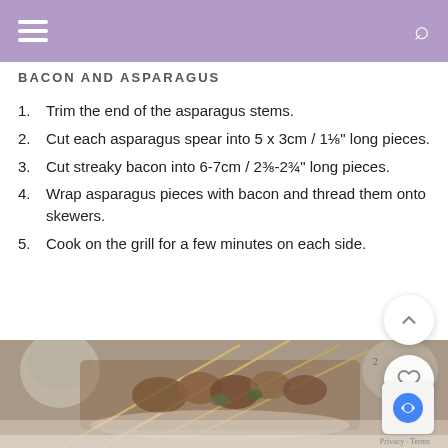BACON AND ASPARAGUS
Trim the end of the asparagus stems.
Cut each asparagus spear into 5 x 3cm / 1⅛" long pieces.
Cut streaky bacon into 6-7cm / 2⅜-2¾" long pieces.
Wrap asparagus pieces with bacon and thread them onto skewers.
Cook on the grill for a few minutes on each side.
[Figure (photo): Food photo of bacon-wrapped asparagus skewers on a plate, with decorative ceramic vessels in the background]